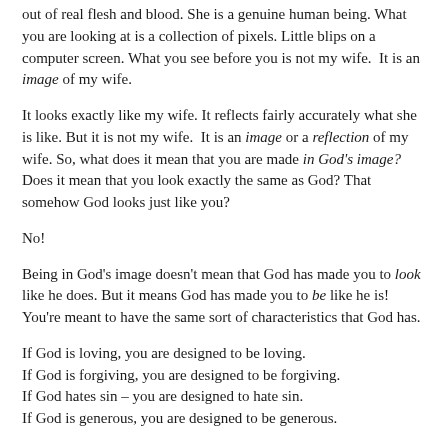out of real flesh and blood. She is a genuine human being. What you are looking at is a collection of pixels. Little blips on a computer screen. What you see before you is not my wife.  It is an image of my wife.
It looks exactly like my wife. It reflects fairly accurately what she is like. But it is not my wife.  It is an image or a reflection of my wife. So, what does it mean that you are made in God's image? Does it mean that you look exactly the same as God? That somehow God looks just like you?
No!
Being in God's image doesn't mean that God has made you to look like he does. But it means God has made you to be like he is! You're meant to have the same sort of characteristics that God has.
If God is loving, you are designed to be loving.
If God is forgiving, you are designed to be forgiving.
If God hates sin – you are designed to hate sin.
If God is generous, you are designed to be generous.
It's almost as if God said: "I am going to make some creatures who will be